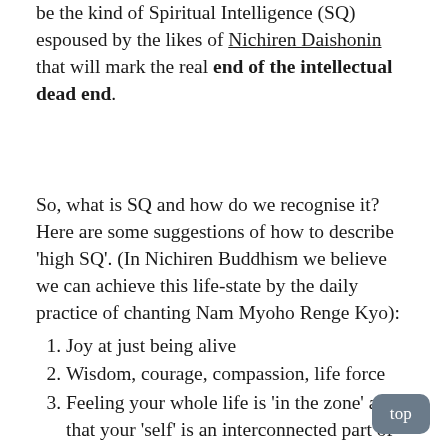be the kind of Spiritual Intelligence (SQ) espoused by the likes of Nichiren Daishonin that will mark the real end of the intellectual dead end.
So, what is SQ and how do we recognise it? Here are some suggestions of how to describe 'high SQ'. (In Nichiren Buddhism we believe we can achieve this life-state by the daily practice of chanting Nam Myoho Renge Kyo):
Joy at just being alive
Wisdom, courage, compassion, life force
Feeling your whole life is 'in the zone' and that your 'self' is an interconnected part of the universal energy
Titanium-strong determination